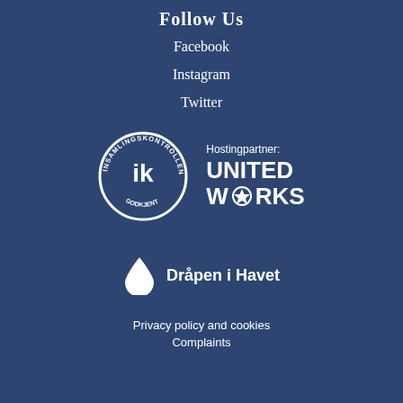Follow Us
Facebook
Instagram
Twitter
[Figure (logo): Insamlingskontrollen GODKJENT seal logo and Hostingpartner: UNITED WORKS logo side by side]
[Figure (logo): Dråpen i Havet logo with water drop icon]
Privacy policy and cookies
Complaints